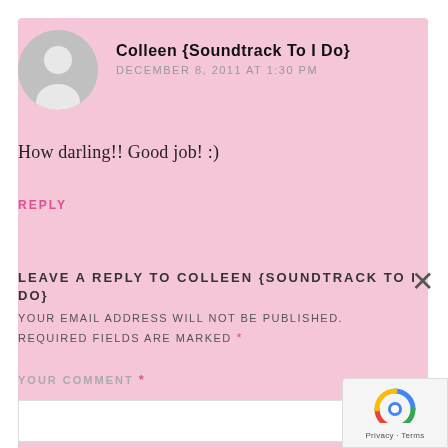Colleen {Soundtrack To I Do}
DECEMBER 8, 2011 AT 1:30 PM
How darling!! Good job! :)
REPLY
LEAVE A REPLY TO COLLEEN {SOUNDTRACK TO I DO}
YOUR EMAIL ADDRESS WILL NOT BE PUBLISHED. REQUIRED FIELDS ARE MARKED *
YOUR COMMENT *